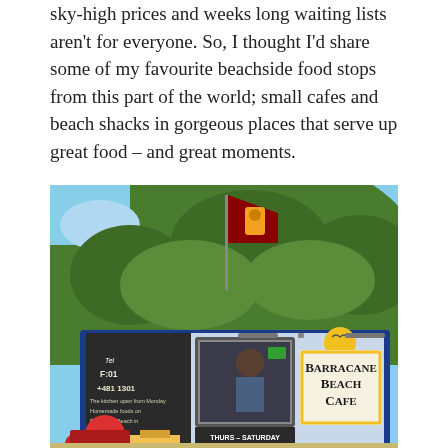sky-high prices and weeks long waiting lists aren't for everyone. So, I thought I'd share some of my favourite beachside food stops from this part of the world; small cafes and beach shacks in gorgeous places that serve up great food – and great moments.
[Figure (photo): Photograph of Barracane Beach Cafe, a small blue and white beach shack/kiosk with a Sri Lankan flag on a pole above it and lush green hillside in the background. A sign on the front reads 'BARRACANE BEACH CAFE' in large letters with decorative border. Below the window it reads 'THURS – SATURDAY'. There is a chalkboard menu on the left side of the kiosk.]